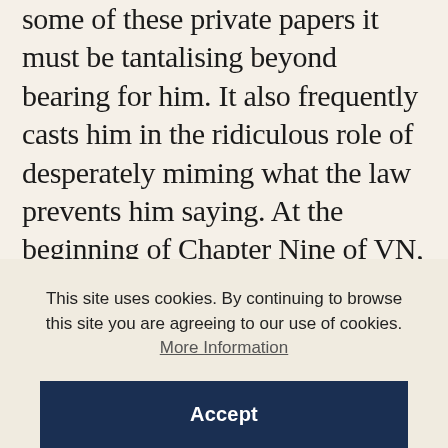some of these private papers it must be tantalising beyond bearing for him. It also frequently casts him in the ridiculous role of desperately miming what the law prevents him saying. At the beginning of Chapter Nine of VN, for instance, Field refers to 'an extraordinary letter . . . which significantly shortens the distance between Nabokov and his art. It offers an unparalleled intimate picture of Nabokov, and it is a startling picture.' But, he tells us, the contents of that extraordinary letter 'cannot be printed in this century'
This site uses cookies. By continuing to browse this site you are agreeing to our use of cookies. More Information
Accept